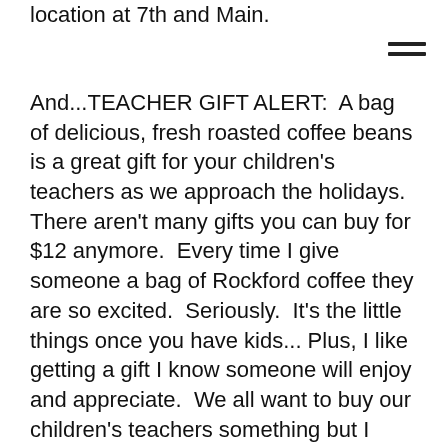location at 7th and Main.
[Figure (other): Hamburger menu icon (three horizontal lines)]
And...TEACHER GIFT ALERT:  A bag of delicious, fresh roasted coffee beans is a great gift for your children's teachers as we approach the holidays.  There aren't many gifts you can buy for $12 anymore.  Every time I give someone a bag of Rockford coffee they are so excited.  Seriously.  It's the little things once you have kids... Plus, I like getting a gift I know someone will enjoy and appreciate.  We all want to buy our children's teachers something but I hate buying gifts just for the sake of buying gifts.  A bag of coffee is perfect.  They have gift cards too and sell a variety of teas, sandwiches and baked goods (even some gluten-free items) so even a non-coffee drinker could enjoy a gift certificate.  You can even order coffee online to ship to someone.